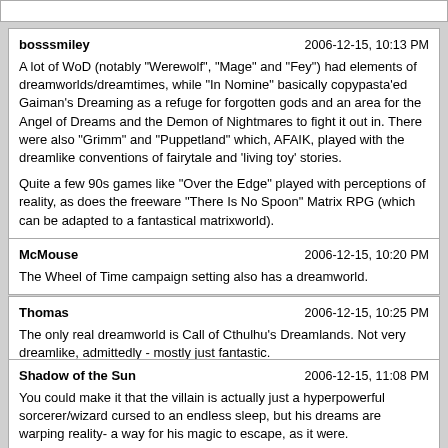bosssmiley — 2006-12-15, 10:13 PM — A lot of WoD (notably "Werewolf", "Mage" and "Fey") had elements of dreamworlds/dreamtimes, while "In Nomine" basically copypasta'ed Gaiman's Dreaming as a refuge for forgotten gods and an area for the Angel of Dreams and the Demon of Nightmares to fight it out in. There were also "Grimm" and "Puppetland" which, AFAIK, played with the dreamlike conventions of fairytale and 'living toy' stories. Quite a few 90s games like "Over the Edge" played with perceptions of reality, as does the freeware "There Is No Spoon" Matrix RPG (which can be adapted to a fantastical matrixworld).
McMouse — 2006-12-15, 10:20 PM — The Wheel of Time campaign setting also has a dreamworld.
Thomas — 2006-12-15, 10:25 PM — The only real dreamworld is Call of Cthulhu's Dreamlands. Not very dreamlike, admittedly - mostly just fantastic.
Shadow of the Sun — 2006-12-15, 11:08 PM — You could make it that the villain is actually just a hyperpowerful sorcerer/wizard cursed to an endless sleep, but his dreams are warping reality- a way for his magic to escape, as it were.
Machete — 2006-12-15, 11:09 PM — Well there is a varient Plane of Dreams that I like.Manual of the Planes page